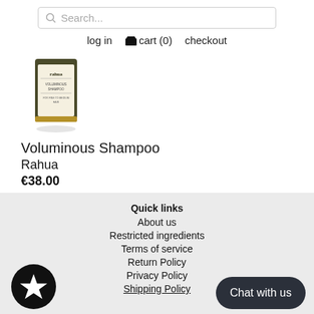[Figure (screenshot): Search bar with magnifying glass icon and placeholder text 'Search...']
log in   🛒 cart (0)   checkout
[Figure (photo): Product image: a small dark bottle/container with label reading 'rahua' - Voluminous Shampoo]
Voluminous Shampoo
Rahua
€38.00
Quick links
About us
Restricted ingredients
Terms of service
Return Policy
Privacy Policy
Shipping Policy
[Figure (illustration): Black circle with white star icon]
Chat with us